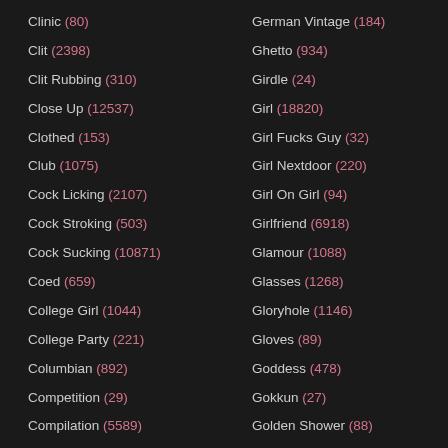Clinic (80)
Clit (2398)
Clit Rubbing (310)
Close Up (12537)
Clothed (153)
Club (1075)
Cock Licking (2107)
Cock Stroking (503)
Cock Sucking (10871)
Coed (659)
College Girl (1044)
College Party (221)
Columbian (892)
Competition (29)
Compilation (5589)
Condom (305)
German Vintage (184)
Ghetto (934)
Girdle (24)
Girl (18820)
Girl Fucks Guy (32)
Girl Nextdoor (220)
Girl On Girl (94)
Girlfriend (6918)
Glamour (1088)
Glasses (1268)
Gloryhole (1146)
Gloves (89)
Goddess (478)
Gokkun (27)
Golden Shower (88)
Gonzo (326)